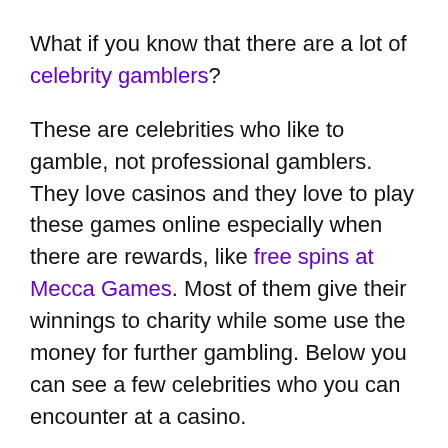What if you know that there are a lot of celebrity gamblers?
These are celebrities who like to gamble, not professional gamblers. They love casinos and they love to play these games online especially when there are rewards, like free spins at Mecca Games. Most of them give their winnings to charity while some use the money for further gambling. Below you can see a few celebrities who you can encounter at a casino.
Matt Damon
Matt Damon is a celebrity and a professional poker and blackjack player. It all started with his role in the movie Rounders. In order to play the role as well as he could, Damon became a student of Johnny Chan. He is a professional poker player and he is one of the best players